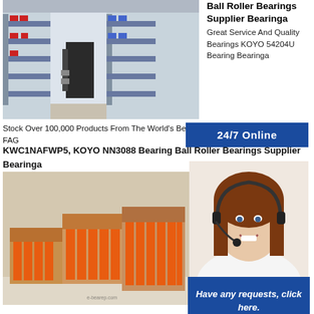[Figure (photo): Warehouse interior with forklift and shelves filled with industrial products]
Ball Roller Bearings Supplier Bearinga
Great Service And Quality Bearings
KOYO 54204U Bearing Bearinga
[Figure (infographic): Blue button with text '24/7 Online']
Stock Over 100,000 Products From The World's Best Bearing Brands Including IKO, FAG
[Figure (photo): Boxes of bearings/roller products in open cardboard boxes on a warehouse floor]
[Figure (photo): Customer service woman wearing headset and smiling]
[Figure (infographic): Blue box with text 'Have any requests, click here.' and orange Quotation button]
KWC1NAFWP5, KOYO NN3088 Bearing Ball Roller Bearings Supplier Bearinga